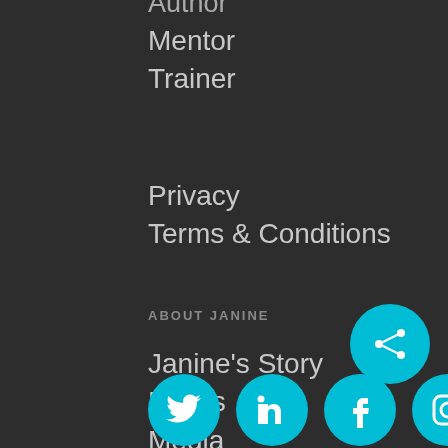Author
Mentor
Trainer
Privacy
Terms & Conditions
ABOUT JANINE
Janine's Story
Books
Media
FOLLOW JANINE
[Figure (illustration): Social media icons: Twitter, LinkedIn, Facebook, Instagram in cyan circles, plus a share button circle]